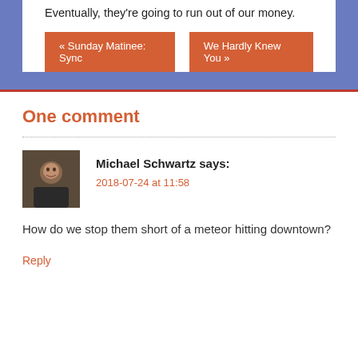Eventually, they're going to run out of our money.
« Sunday Matinee: Sync
We Hardly Knew You »
One comment
Michael Schwartz says:
2018-07-24 at 11:58
How do we stop them short of a meteor hitting downtown?
Reply